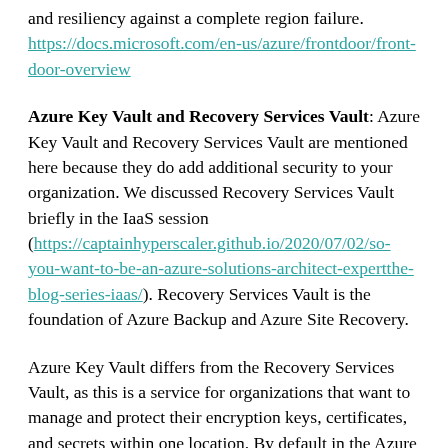and resiliency against a complete region failure. https://docs.microsoft.com/en-us/azure/frontdoor/front-door-overview
Azure Key Vault and Recovery Services Vault: Azure Key Vault and Recovery Services Vault are mentioned here because they do add additional security to your organization. We discussed Recovery Services Vault briefly in the IaaS session (https://captainhyperscaler.github.io/2020/07/02/so-you-want-to-be-an-azure-solutions-architect-expertthe-blog-series-iaas/). Recovery Services Vault is the foundation of Azure Backup and Azure Site Recovery.
Azure Key Vault differs from the Recovery Services Vault, as this is a service for organizations that want to manage and protect their encryption keys, certificates, and secrets within one location. By default in the Azure environment, when data at rest is encrypted, it is assigned two Azure managed keys. Some organizations require a segregation of duties within their